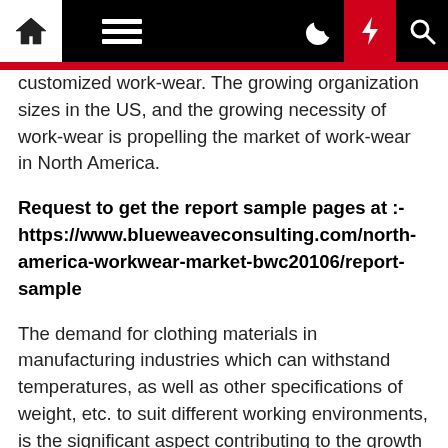Navigation bar with home, menu, moon, bolt, and search icons
customized work-wear. The growing organization sizes in the US, and the growing necessity of work-wear is propelling the market of work-wear in North America.
Request to get the report sample pages at :- https://www.blueweaveconsulting.com/north-america-workwear-market-bwc20106/report-sample
The demand for clothing materials in manufacturing industries which can withstand temperatures, as well as other specifications of weight, etc. to suit different working environments, is the significant aspect contributing to the growth of the segment. Furthermore, the growing demand for workwear by manufacturers is being witnessed for their workers to maintain dress code.